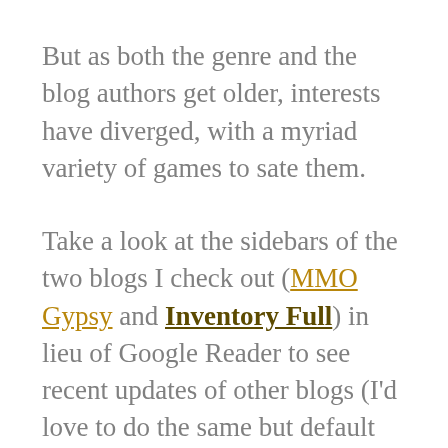But as both the genre and the blog authors get older, interests have diverged, with a myriad variety of games to sate them.
Take a look at the sidebars of the two blogs I check out (MMO Gypsy and Inventory Full) in lieu of Google Reader to see recent updates of other blogs (I'd love to do the same but default WordPress is crummy) and just scan the subject matter.
Bloggers are talking about WoW, TSW, GW2, Eve, SWTOR, Rift, LOTRO, Firefall, World of Tanks, Civilization, Minecraft, Sims 3,